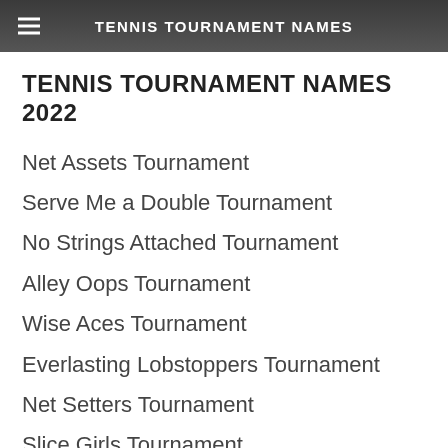TENNIS TOURNAMENT NAMES
TENNIS TOURNAMENT NAMES 2022
Net Assets Tournament
Serve Me a Double Tournament
No Strings Attached Tournament
Alley Oops Tournament
Wise Aces Tournament
Everlasting Lobstoppers Tournament
Net Setters Tournament
Slice Girls Tournament